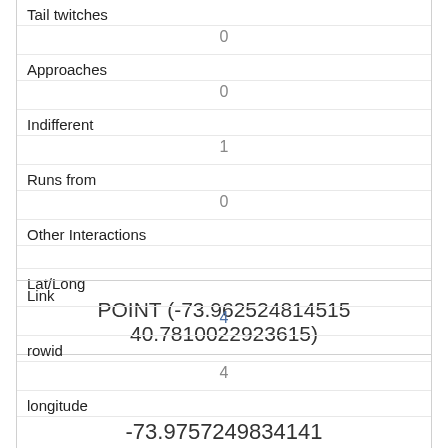| Tail twitches | 0 |
| Approaches | 0 |
| Indifferent | 1 |
| Runs from | 0 |
| Other Interactions |  |
| Lat/Long | POINT (-73.962524814515 40.7810022923615) |
| Link | 4 |
| rowid | 4 |
| longitude | -73.9757249834141 |
| latitude | 40.7697032606755 |